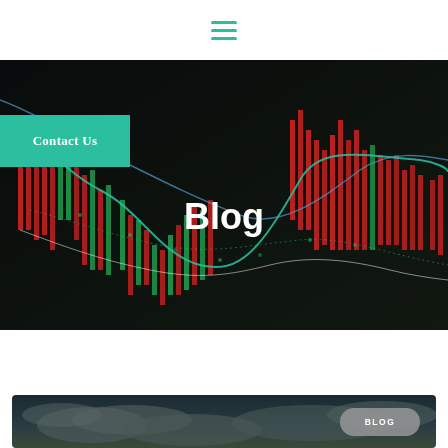[Figure (screenshot): Hamburger/menu icon with three teal horizontal lines on a white rounded rectangle background, centered in the top white header bar]
[Figure (photo): Dark financial stock market candlestick chart with green and red candles and teal/white line overlays on black background — hero banner image]
Contact Us
Blog
[Figure (photo): Partially visible thumbnail image showing a dark stormy sky with clouds — bottom card preview]
BLOG